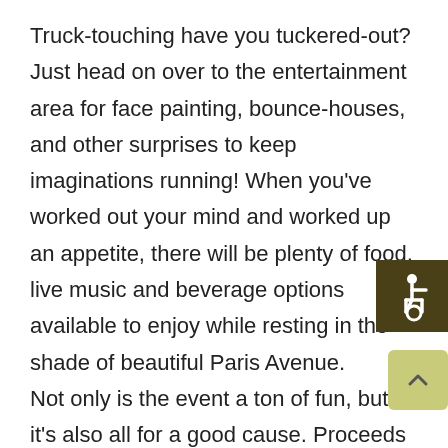Truck-touching have you tuckered-out? Just head on over to the entertainment area for face painting, bounce-houses, and other surprises to keep imaginations running! When you've worked out your mind and worked up an appetite, there will be plenty of food, live music and beverage options available to enjoy while resting in the shade of beautiful Paris Avenue. Not only is the event a ton of fun, but it's also all for a good cause. Proceeds from the event go right back into our community via JSLB grants distributed in May each year.
[Figure (illustration): Wheelchair accessibility icon — white figure in wheelchair on dark brown/olive square background]
[Figure (illustration): Scroll-to-top button — upward chevron arrow on light yellow-green rounded square]